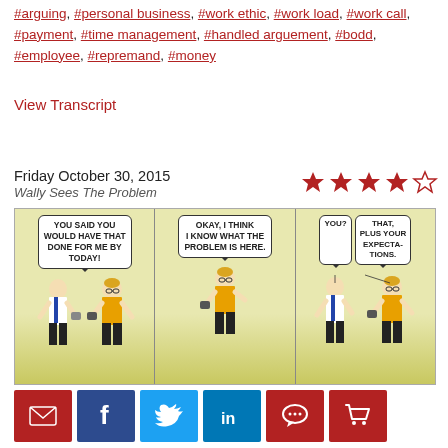#arguing, #personal business, #work ethic, #work load, #work call, #payment, #time management, #handled arguement, #bodd, #employee, #repremand, #money
View Transcript
Friday October 30, 2015
Wally Sees The Problem
[Figure (illustration): Dilbert comic strip titled 'Wally Sees The Problem'. Three panels: Panel 1 boss says 'YOU SAID YOU WOULD HAVE THAT DONE FOR ME BY TODAY!', Panel 2 Wally says 'OKAY, I THINK I KNOW WHAT THE PROBLEM IS HERE.', Panel 3 boss says 'YOU?' and Wally says 'THAT, PLUS YOUR EXPECTA-TIONS.']
Tags
#laziness, #work ethic, #excuse, #problem, #expectations